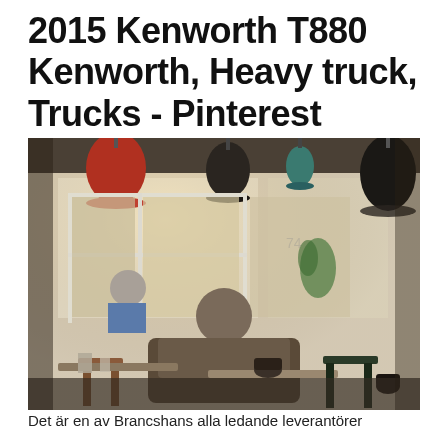2015 Kenworth T880 Kenworth, Heavy truck, Trucks - Pinterest
[Figure (photo): Interior of a cafe with pendant lights hanging from ceiling, a person in a brown sweater seated with back to camera, another person visible in background, large windows looking onto a street, coffee cups on wooden tables.]
Det är en av Brancshans alla ledande leverantörer